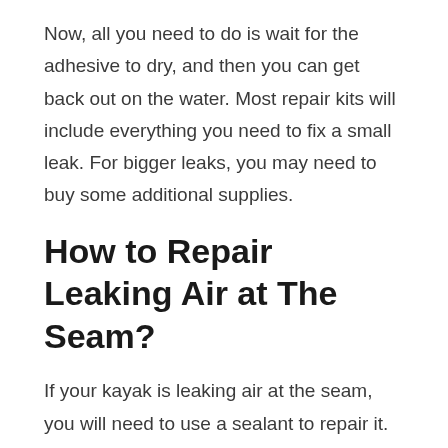Now, all you need to do is wait for the adhesive to dry, and then you can get back out on the water. Most repair kits will include everything you need to fix a small leak. For bigger leaks, you may need to buy some additional supplies.
How to Repair Leaking Air at The Seam?
If your kayak is leaking air at the seam, you will need to use a sealant to repair it. First, clean the area around the leak with a cloth or some other type of cleaner. Next, apply the sealant to the leaky area. Make sure that you follow the instructions on the sealant for the best results.
Once the sealant is in place, you will need to wait for it to